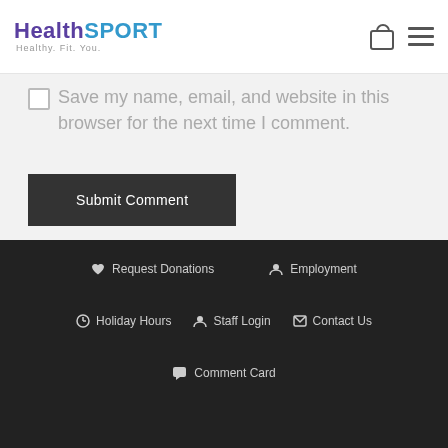HealthSPORT — Healthy. Fit. You.
Save my name, email, and website in this browser for the next time I comment.
Submit Comment
♥ Request Donations
👤 Employment
⊙ Holiday Hours
👤 Staff Login
✉ Contact Us
💬 Comment Card